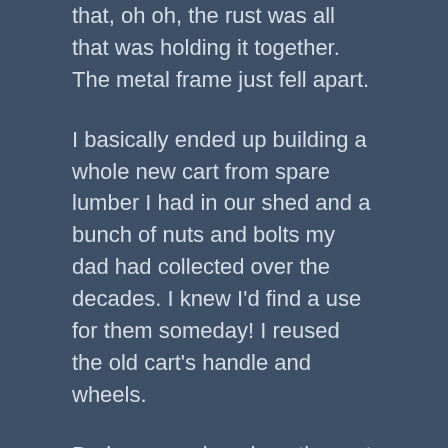that, oh oh, the rust was all that was holding it together. The metal frame just fell apart.
I basically ended up building a whole new cart from spare lumber I had in our shed and a bunch of nuts and bolts my dad had collected over the decades. I knew I'd find a use for them someday! I reused the old cart's handle and wheels.
Barbara convinced me the cart needed to be the same color as our 1957 runabout, so I got some turquoise spray paint and now it's all done and looks spiffy.
One wag of a neighbor who occasionally sees me pushing my cart suggested I should paint flames on the side. I'm not sure. We only just got away from